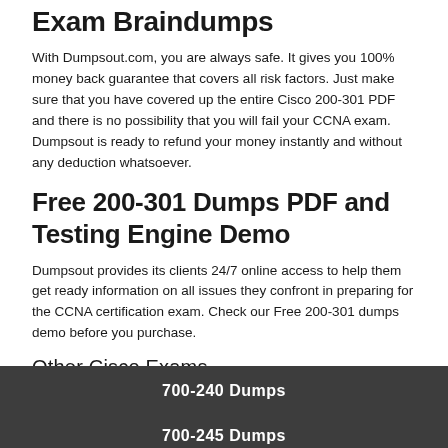Exam Braindumps
With Dumpsout.com, you are always safe. It gives you 100% money back guarantee that covers all risk factors. Just make sure that you have covered up the entire Cisco 200-301 PDF and there is no possibility that you will fail your CCNA exam. Dumpsout is ready to refund your money instantly and without any deduction whatsoever.
Free 200-301 Dumps PDF and Testing Engine Demo
Dumpsout provides its clients 24/7 online access to help them get ready information on all issues they confront in preparing for the CCNA certification exam. Check our Free 200-301 dumps demo before you purchase.
Other Cisco Exams
700-240 Dumps
700-245 Dumps